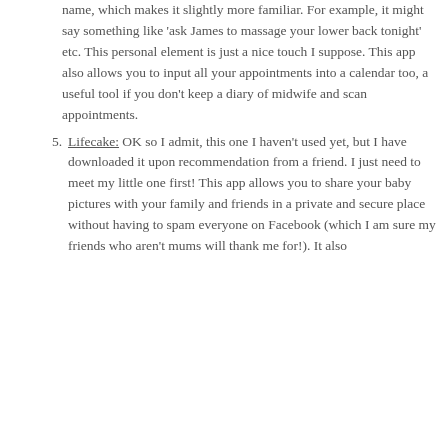name, which makes it slightly more familiar. For example, it might say something like 'ask James to massage your lower back tonight' etc. This personal element is just a nice touch I suppose. This app also allows you to input all your appointments into a calendar too, a useful tool if you don't keep a diary of midwife and scan appointments.
Lifecake: OK so I admit, this one I haven't used yet, but I have downloaded it upon recommendation from a friend. I just need to meet my little one first! This app allows you to share your baby pictures with your family and friends in a private and secure place without having to spam everyone on Facebook (which I am sure my friends who aren't mums will thank me for!). It also